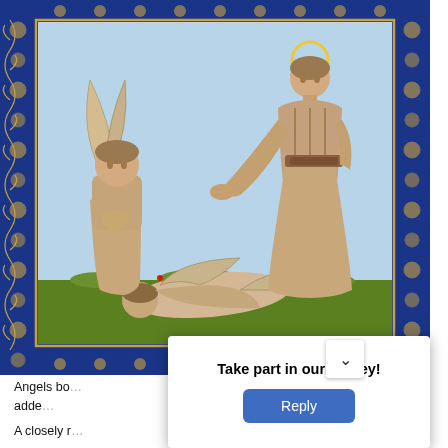[Figure (illustration): Illuminated manuscript-style illustration showing three angelic figures on a light blue background with ornate dark blue floral border with gold accents. Left figure is a winged angel with hands clasped in prayer. Right figure is a standing person in robes with halo/crown. Bottom center figure is prostrate on the ground with wings extended on green grass ground. Red flower accents on ground.]
Angels bo... drawing with adde... [PUBLIC DOMAIN badge]
A closely r... ught by
[Figure (infographic): Survey popup overlay with title 'Take part in our survey!' and a blue 'Reply' button]